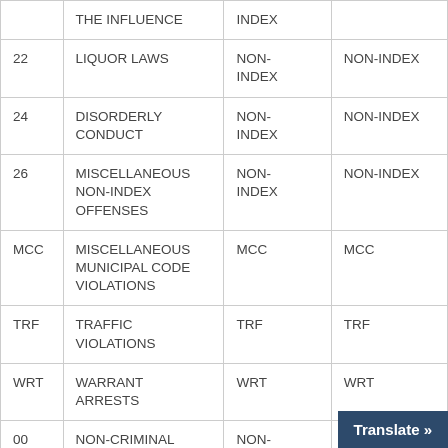| Code | Description | Category | Index |
| --- | --- | --- | --- |
|  | THE INFLUENCE | INDEX |  |
| 22 | LIQUOR LAWS | NON-INDEX | NON-INDEX |
| 24 | DISORDERLY CONDUCT | NON-INDEX | NON-INDEX |
| 26 | MISCELLANEOUS NON-INDEX OFFENSES | NON-INDEX | NON-INDEX |
| MCC | MISCELLANEOUS MUNICIPAL CODE VIOLATIONS | MCC | MCC |
| TRF | TRAFFIC VIOLATIONS | TRF | TRF |
| WRT | WARRANT ARRESTS | WRT | WRT |
| 00 | NON-CRIMINAL | NON-CRIMINAL |  |